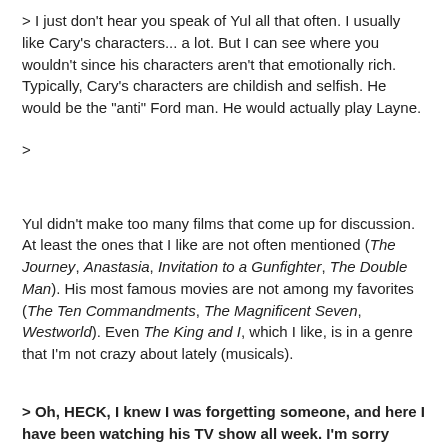> I just don't hear you speak of Yul all that often. I usually like Cary's characters... a lot. But I can see where you wouldn't since his characters aren't that emotionally rich. Typically, Cary's characters are childish and selfish. He would be the "anti" Ford man. He would actually play Layne.
>
Yul didn't make too many films that come up for discussion. At least the ones that I like are not often mentioned (The Journey, Anastasia, Invitation to a Gunfighter, The Double Man). His most famous movies are not among my favorites (The Ten Commandments, The Magnificent Seven, Westworld). Even The King and I, which I like, is in a genre that I'm not crazy about lately (musicals).
> Oh, HECK, I knew I was forgetting someone, and here I have been watching his TV show all week. I'm sorry Wardy! He's definitely in my top 30, somehow, somewhere.
>
> I need to bump him up my list, actually.